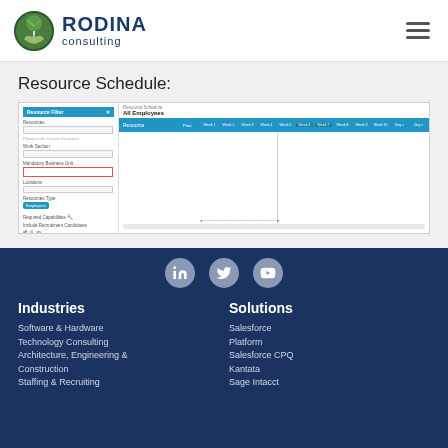[Figure (logo): Rodina Consulting logo with circular plant/hand icon and blue text reading RODINA consulting]
[Figure (screenshot): Resource Schedule software interface showing a filter panel on the left with Resource Filter, Resources, Business Unit fields, and a schedule grid on the right showing All Employees with weekly columns and teal header row]
Resource Schedule:
Industries
Solutions
Software & Hardware
Technology Consulting
Architecture, Engineering & Construction
Staffing & Recruiting
Salesforce Platform
Salesforce CPQ
Kantata
Sage Intacct